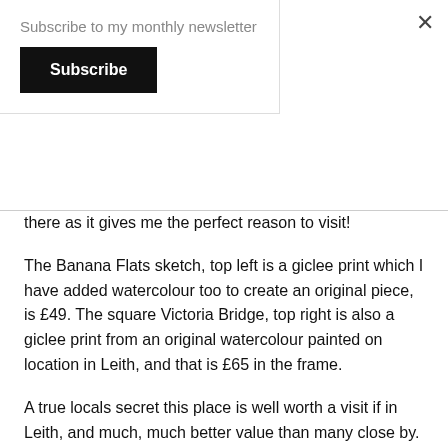Subscribe to my monthly newsletter
Subscribe
there as it gives me the perfect reason to visit!
The Banana Flats sketch, top left is a giclee print which I have added watercolour too to create an original piece, is £49. The square Victoria Bridge, top right is also a giclee print from an original watercolour painted on location in Leith, and that is £65 in the frame.
A true locals secret this place is well worth a visit if in Leith, and much, much better value than many close by. Plus the walls are full of local artwork, what more do you want!
The Haven Cafe website